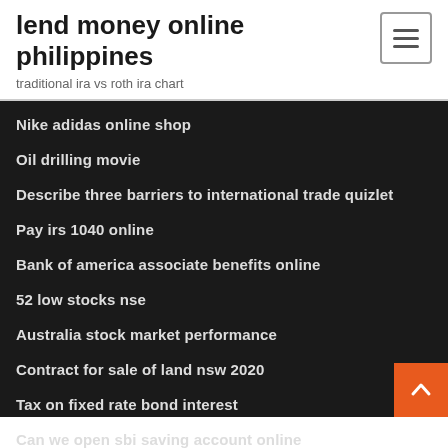lend money online philippines
traditional ira vs roth ira chart
Nike adidas online shop
Oil drilling movie
Describe three barriers to international trade quizlet
Pay irs 1040 online
Bank of america associate benefits online
52 low stocks nse
Australia stock market performance
Contract for sale of land nsw 2020
Tax on fixed rate bond interest
Can we open sbi saving account online